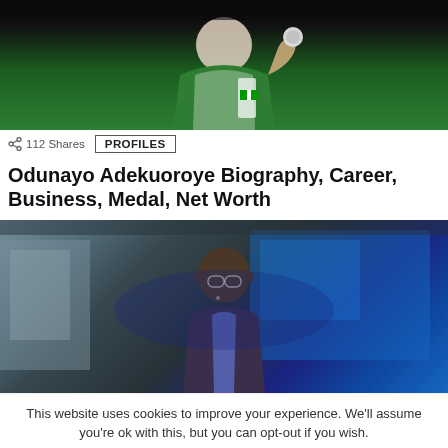[Figure (photo): Person in green Nigerian jersey holding up a medal against dark background]
112 Shares
PROFILES
Odunayo Adekuoroye Biography, Career, Business, Medal, Net Worth
[Figure (photo): Man in suit and glasses standing in front of blue-lit background, speaking at event]
This website uses cookies to improve your experience. We'll assume you're ok with this, but you can opt-out if you wish.
Cookie settings
ACCEPT